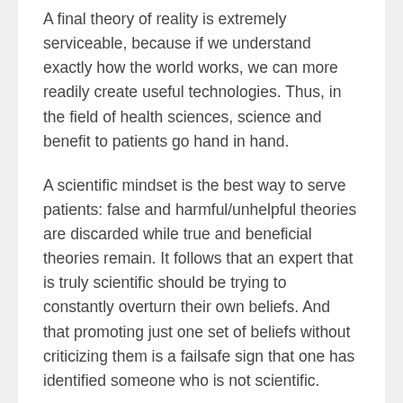A final theory of reality is extremely serviceable, because if we understand exactly how the world works, we can more readily create useful technologies. Thus, in the field of health sciences, science and benefit to patients go hand in hand.
A scientific mindset is the best way to serve patients: false and harmful/unhelpful theories are discarded while true and beneficial theories remain. It follows that an expert that is truly scientific should be trying to constantly overturn their own beliefs. And that promoting just one set of beliefs without criticizing them is a failsafe sign that one has identified someone who is not scientific.
We therefore reach our simple, singular criterion for identifying which popular health experts are science-based and which are not: